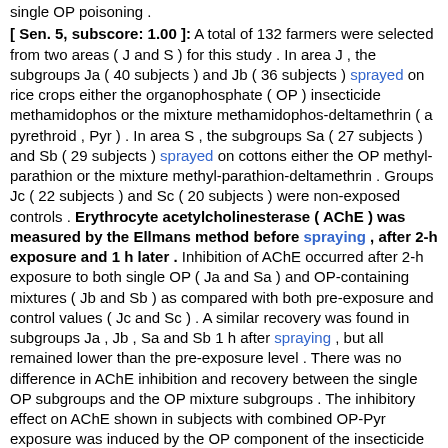single OP poisoning .
[ Sen. 5, subscore: 1.00 ]: A total of 132 farmers were selected from two areas ( J and S ) for this study . In area J , the subgroups Ja ( 40 subjects ) and Jb ( 36 subjects ) sprayed on rice crops either the organophosphate ( OP ) insecticide methamidophos or the mixture methamidophos-deltamethrin ( a pyrethroid , Pyr ) . In area S , the subgroups Sa ( 27 subjects ) and Sb ( 29 subjects ) sprayed on cottons either the OP methyl-parathion or the mixture methyl-parathion-deltamethrin . Groups Jc ( 22 subjects ) and Sc ( 20 subjects ) were non-exposed controls . Erythrocyte acetylcholinesterase ( AChE ) was measured by the Ellmans method before spraying , after 2-h exposure and 1 h later . Inhibition of AChE occurred after 2-h exposure to both single OP ( Ja and Sa ) and OP-containing mixtures ( Jb and Sb ) as compared with both pre-exposure and control values ( Jc and Sc ) . A similar recovery was found in subgroups Ja , Jb , Sa and Sb 1 h after spraying , but all remained lower than the pre-exposure level . There was no difference in AChE inhibition and recovery between the single OP subgroups and the OP mixture subgroups . The inhibitory effect on AChE shown in subjects with combined OP-Pyr exposure was induced by the OP component of the insecticide mixture and to a similar extent as that induced by the single OP formulations . In addition to the fact that the OP is more potent than Pyrs , the above results might explain why the clinical manifestations of OP mixture poisonings are similar to those of single OP poisoning .
[ Sen. 7, subscore: 1.00 ]: A total of 132 farmers were selected from two areas ( J and S ) for this study . In area J , the subgroups Ja ( 40 subjects ) and Jb ( 36 subjects ) sprayed on rice crops either the organophosphate ( OP ) insecticide methamidophos or the mixture methamidophos-deltamethrin ( a pyrethroid , Pyr ) . In area S , the subgroups Sa ( 27 subjects ) and Sb ( 29 subjects ) sprayed on cottons either the OP methyl-parathion or the mixture methyl-parathion-deltamethrin .